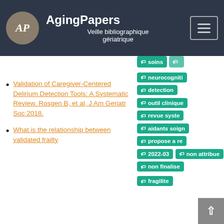AgingPapers — Veille bibliographique gériatrique
Validation of Caregiver-Centered Delirium Detection Tools: A Systematic Review. Rosgen B, et al, J Am Geriatr Soc 2018.
What is the relationship between validated frailty
[Figure (other): Tag badges on the right column: soins, [cut], neurocogniti[f], detection, outil clinique, revue syste[matique], aidants soign[ants], propose a re[..], 2022-03, non attribue, non finalise, fragilite, [cut]]